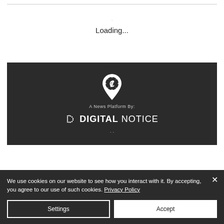Loading...
[Figure (logo): Dark banner with a map-pin crypto logo and 'A News Platform By: DIGITAL NOTICE' branding on dark background]
We use cookies on our website to see how you interact with it. By accepting, you agree to our use of such cookies. Privacy Policy
Settings
Accept